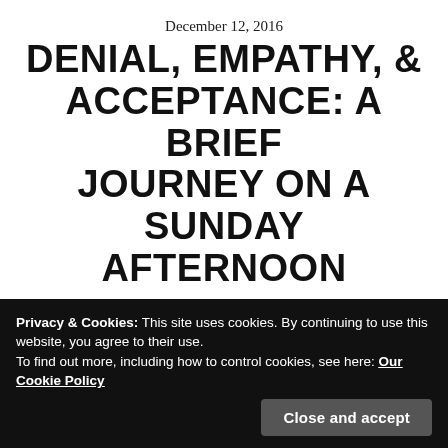December 12, 2016
DENIAL, EMPATHY, & ACCEPTANCE: A BRIEF JOURNEY ON A SUNDAY AFTERNOON
I've got another confession to make
I'm your fool
Everyone's got their chains to break
— Foo Fighters
Privacy & Cookies: This site uses cookies. By continuing to use this website, you agree to their use.
To find out more, including how to control cookies, see here: Our Cookie Policy
Close and accept